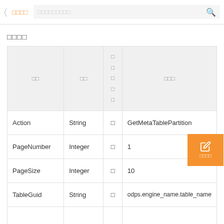□□□□  □□□□□□□□□
□□□□
| □□ | □□ | □□□□□ | □□□ |
| --- | --- | --- | --- |
| Action | String | □ | GetMetaTablePartition |
| PageNumber | Integer | □ | 1 |
| PageSize | Integer | □ | 10 |
| TableGuid | String | □ | odps.engine_name.table_name |
|  |  |  |  |